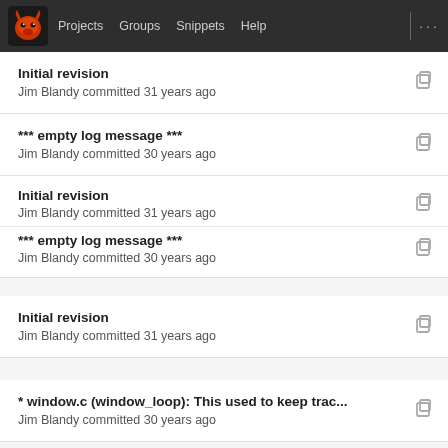Projects  Groups  Snippets  Help
Initial revision
Jim Blandy committed 31 years ago
*** empty log message ***
Jim Blandy committed 30 years ago
Initial revision
Jim Blandy committed 31 years ago
*** empty log message ***
Jim Blandy committed 30 years ago
Initial revision
Jim Blandy committed 31 years ago
* window.c (window_loop): This used to keep trac...
Jim Blandy committed 30 years ago